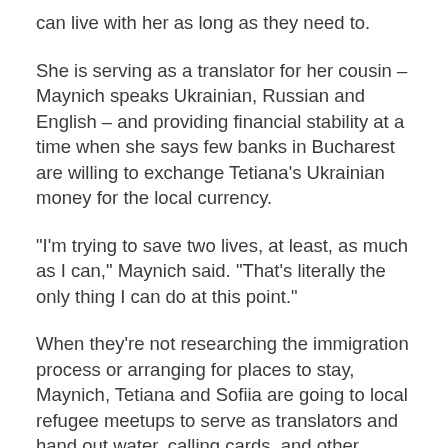can live with her as long as they need to.
She is serving as a translator for her cousin – Maynich speaks Ukrainian, Russian and English – and providing financial stability at a time when she says few banks in Bucharest are willing to exchange Tetiana's Ukrainian money for the local currency.
“I’m trying to save two lives, at least, as much as I can,” Maynich said. “That’s literally the only thing I can do at this point.”
When they’re not researching the immigration process or arranging for places to stay, Maynich, Tetiana and Sofiia are going to local refugee meetups to serve as translators and hand out water, calling cards, and other donated items.
“A lot of refugees here are doing the same thing. They don’t speak any English, so I’ve been kind of helping